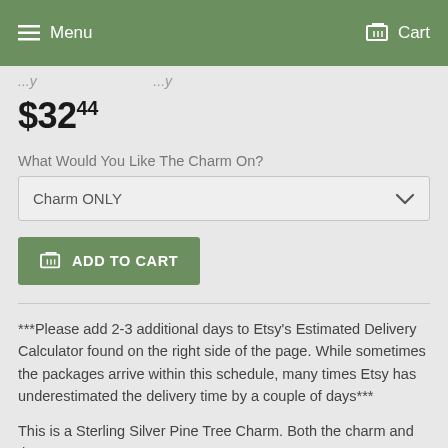Menu   Cart
...y   ...y
$32.44
What Would You Like The Charm On?
Charm ONLY
ADD TO CART
***Please add 2-3 additional days to Etsy's Estimated Delivery Calculator found on the right side of the page. While sometimes the packages arrive within this schedule, many times Etsy has underestimated the delivery time by a couple of days***
This is a Sterling Silver Pine Tree Charm. Both the charm and the